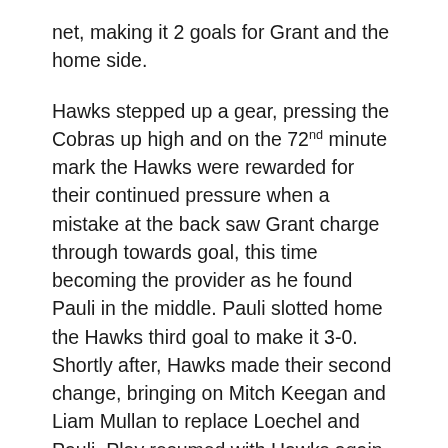net, making it 2 goals for Grant and the home side.
Hawks stepped up a gear, pressing the Cobras up high and on the 72nd minute mark the Hawks were rewarded for their continued pressure when a mistake at the back saw Grant charge through towards goal, this time becoming the provider as he found Pauli in the middle. Pauli slotted home the Hawks third goal to make it 3-0. Shortly after, Hawks made their second change, bringing on Mitch Keegan and Liam Mullan to replace Loechel and Pauli. Play resumed with Hawks again dominating possession, buoyed by their 3 goal buffer and looking to hold strong to play out the game.
With 10 minutes to go there was a collision